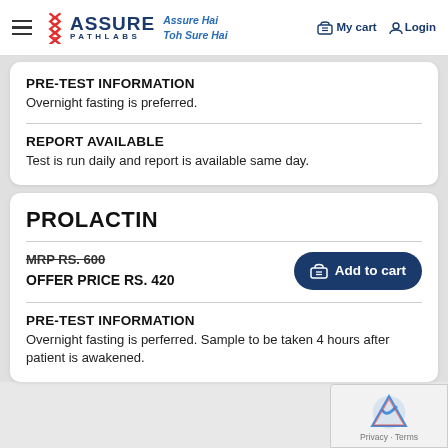ASSURE PATHLABS — Assure Hai Toh Sure Hai — My cart — Login
PRE-TEST INFORMATION
Overnight fasting is preferred.
REPORT AVAILABLE
Test is run daily and report is available same day.
PROLACTIN
MRP RS. 600
OFFER PRICE RS. 420
PRE-TEST INFORMATION
Overnight fasting is perferred. Sample to be taken 4 hours after patient is awakened.